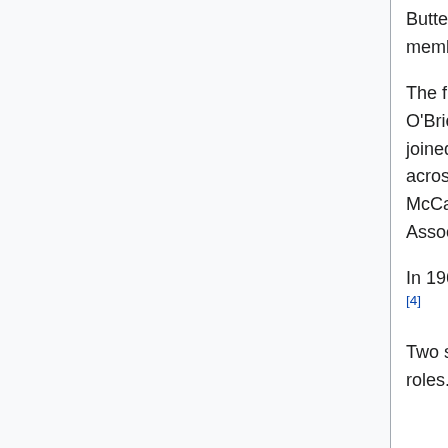Butter and Egg Board into CME in 1919. RJO is the only CME founding member still in existence.
The firm has been through four generations of family. In 1947, Robert O'Brien, Sr. married Geraldine McCarthy, John's daughter, and soon after joined the family business. He started by visiting farmers and egg producers across the country, and he became president of the firm in 1959. John McCarthy died in 1963, and in 1969 the firm became R.J. O'Brien & Associates.[3]
In 1967, O'Brien was elected chairman of the Chicago Mercantile Exchange.[4]
Two sons of Robert J. O'Brien joined the family firm and took leadership roles. Robert J. O'Brien, Jr. was named